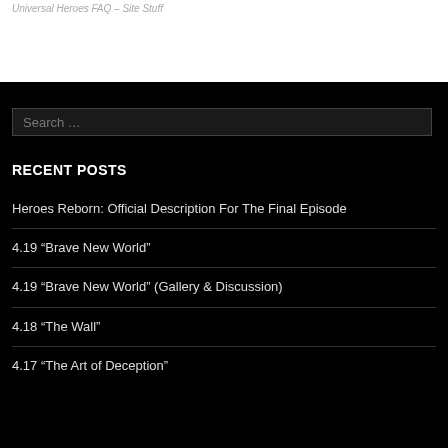Universal Heroes FAQ – Site Stuff
Search …
RECENT POSTS
Heroes Reborn: Official Description For The Final Episode
4.19 “Brave New World”
4.19 “Brave New World” (Gallery & Discussion)
4.18 “The Wall”
4.17 “The Art of Deception”